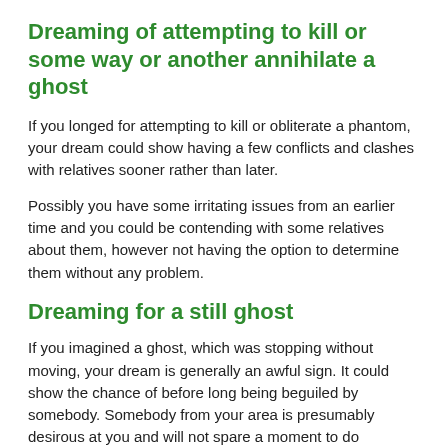Dreaming of attempting to kill or some way or another annihilate a ghost
If you longed for attempting to kill or obliterate a phantom, your dream could show having a few conflicts and clashes with relatives sooner rather than later.
Possibly you have some irritating issues from an earlier time and you could be contending with some relatives about them, however not having the option to determine them without any problem.
Dreaming for a still ghost
If you imagined a ghost, which was stopping without moving, your dream is generally an awful sign. It could show the chance of before long being beguiled by somebody. Somebody from your area is presumably desirous at you and will not spare a moment to do everything necessary to destroy your satisfaction